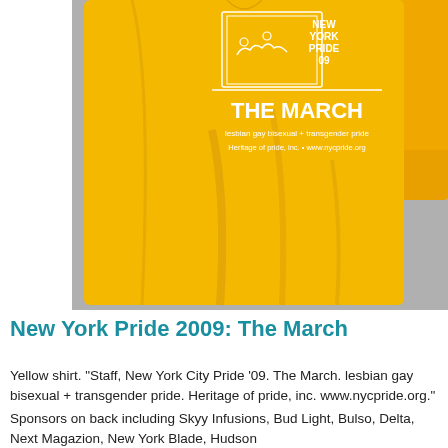[Figure (photo): A yellow T-shirt displayed on a flat surface. The shirt reads 'New York Pride 09 - The March. lesbian gay bisexual + transgender pride. Heritage of pride, inc. www.nycpride.org' in white text. Another yellow shirt is partially visible in the background at top right.]
New York Pride 2009: The March
Yellow shirt. "Staff, New York City Pride '09. The March. lesbian gay bisexual + transgender pride. Heritage of pride, inc. www.nycpride.org."
Sponsors on back including Skyy Infusions, Bud Light, Bulso, Delta, Next Magazion, New York Blade, Hudson...